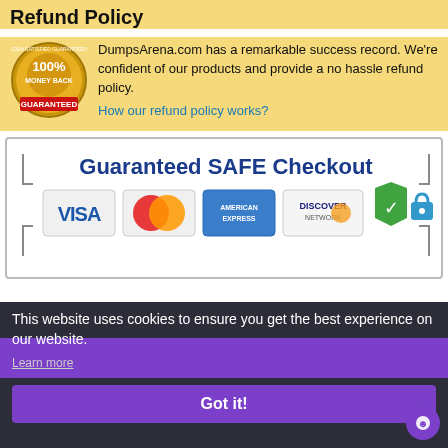Refund Policy
DumpsArena.com has a remarkable success record. We're confident of our products and provide a no hassle refund policy.
How our refund policy works?
[Figure (other): Guaranteed SAFE Checkout banner with Visa, Mastercard, American Express, Discover payment icons and security badges]
This website uses cookies to ensure you get the best experience on our website.
Learn more
Got it!